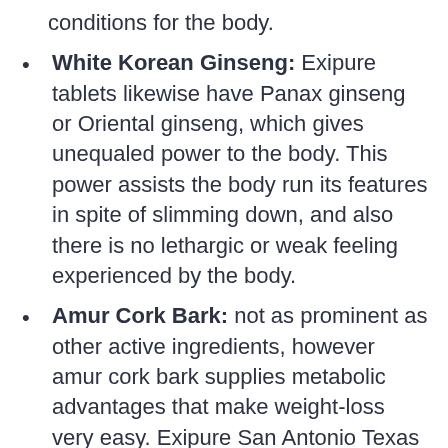conditions for the body.
White Korean Ginseng: Exipure tablets likewise have Panax ginseng or Oriental ginseng, which gives unequaled power to the body. This power assists the body run its features in spite of slimming down, and also there is no lethargic or weak feeling experienced by the body.
Amur Cork Bark: not as prominent as other active ingredients, however amur cork bark supplies metabolic advantages that make weight-loss very easy. Exipure San Antonio Texas It relieves bloating, diarrhea, aches, nausea or vomiting, flatulence, and also various other conditions that prevail in overweight individuals.
Quercetin: Next on this list is quercetin, an